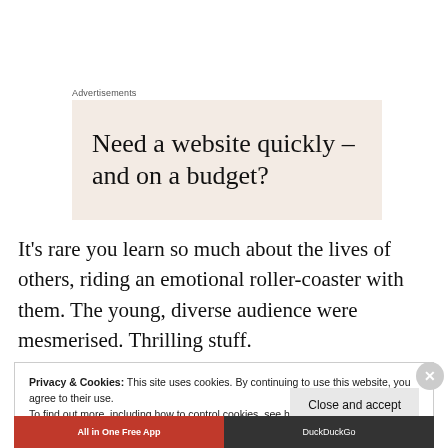Advertisements
[Figure (other): Advertisement box with text: Need a website quickly – and on a budget?]
It's rare you learn so much about the lives of others, riding an emotional roller-coaster with them. The young, diverse audience were mesmerised. Thrilling stuff.
Privacy & Cookies: This site uses cookies. By continuing to use this website, you agree to their use.
To find out more, including how to control cookies, see here: Cookie Policy
Close and accept